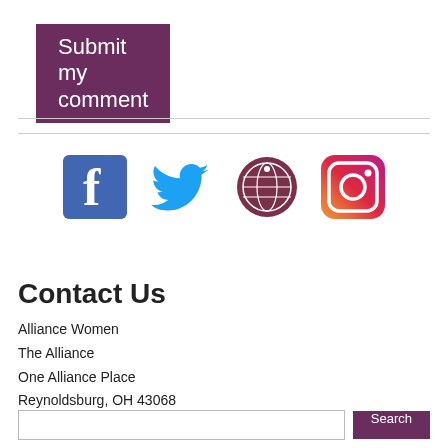[Figure (other): Submit my comment button — dark purple/maroon rectangular button with white text]
[Figure (infographic): Four social media icons in a row: Facebook (blue square with white f), Twitter (blue bird), Alliance/globe logo (dark red circular seal), Instagram (colorful gradient camera icon)]
Contact Us
Alliance Women
The Alliance
One Alliance Place
Reynoldsburg, OH 43068
Phone: (380) 208-6200

AllianceWomen@cmalliance.org
[Figure (screenshot): Search bar with text input field and purple Search button at page bottom]